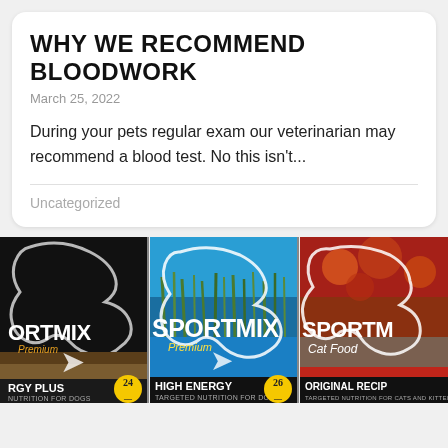WHY WE RECOMMEND BLOODWORK
March 25, 2022
During your pets regular exam our veterinarian may recommend a blood test. No this isn't...
Uncategorized
[Figure (photo): Three Sportmix pet food product packaging images side by side: black background Energy Plus for dogs, blue background High Energy for dogs, and red background Original Recipe cat food.]